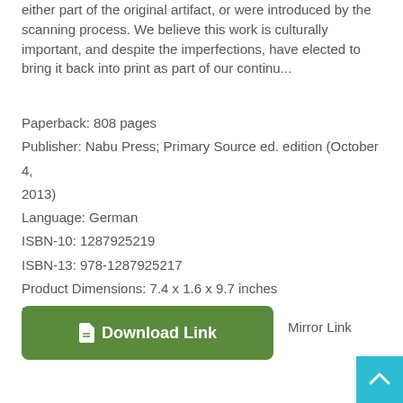either part of the original artifact, or were introduced by the scanning process. We believe this work is culturally important, and despite the imperfections, have elected to bring it back into print as part of our continu...
Paperback: 808 pages
Publisher: Nabu Press; Primary Source ed. edition (October 4, 2013)
Language: German
ISBN-10: 1287925219
ISBN-13: 978-1287925217
Product Dimensions: 7.4 x 1.6 x 9.7 inches
Format: PDF ePub TXT book
[Figure (other): Green rounded rectangle button labeled 'Download Link' with a document icon]
Mirror Link
[Figure (other): Teal/cyan back-to-top arrow button in bottom-right corner]